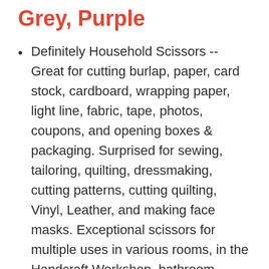Grey, Purple
Definitely Household Scissors -- Great for cutting burlap, paper, card stock, cardboard, wrapping paper, light line, fabric, tape, photos, coupons, and opening boxes & packaging. Surprised for sewing, tailoring, quilting, dressmaking, cutting patterns, cutting quilting, Vinyl, Leather, and making face masks. Exceptional scissors for multiple uses in various rooms, in the Handcraft Workshop, bathroom,